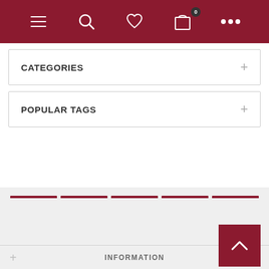Navigation bar with menu, search, wishlist, cart (0), and more options
CATEGORIES
POPULAR TAGS
[Figure (infographic): Row of 5 dark red social media icon buttons: Facebook, Twitter, YouTube, Google+, RSS feed]
INFORMATION
MY ACCOUNT